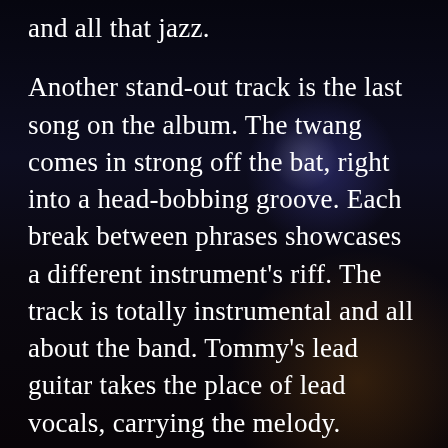[Figure (photo): Dark concert/band photo background with blue stage lighting, a bright blue/white light source visible in the upper right area, and warm amber/orange stage glow in the lower portions. The scene shows a dimly lit performance stage environment.]
and all that jazz.
Another stand-out track is the last song on the album. The twang comes in strong off the bat, right into a head-bobbing groove. Each break between phrases showcases a different instrument's riff. The track is totally instrumental and all about the band. Tommy's lead guitar takes the place of lead vocals, carrying the melody.
Tommy really shines in his lead guitar playing. With whammy bar action, and dirty slides. He